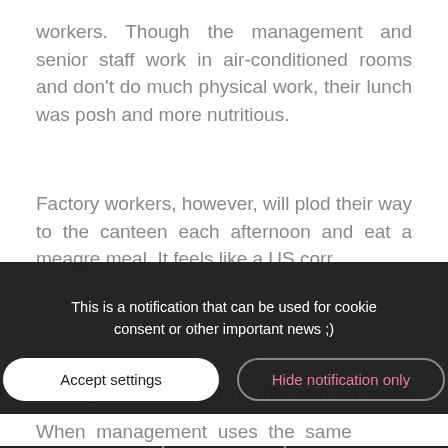workers. Though the management and senior staff work in air-conditioned rooms and don't do much physical work, their lunch was posh and more nutritious.
Factory workers, however, will plod their way to the canteen each afternoon and eat a meagre meal. It feels like a US corr
[Figure (screenshot): Cookie consent notification overlay with dark background. Text reads: 'This is a notification that can be used for cookie consent or other important news ;)'. Three buttons: 'Accept settings' (white pill), 'Hide notification only' (pink text, grey border pill), 'Settings' (white text, grey border pill).]
But logic dictates that people who do much physical work...
So they can continue to be productive
When management uses the same